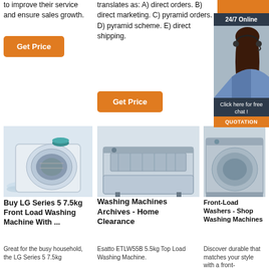to improve their service and ensure sales growth.
[Figure (other): Orange 'Get Price' button]
translates as: A) direct orders. B) direct marketing. C) pyramid orders. D) pyramid scheme. E) direct shipping.
[Figure (other): Orange rectangle banner top right]
[Figure (other): Orange 'Get Price' button (second)]
[Figure (other): 24/7 Online customer service panel with woman wearing headset and 'Click here for free chat! QUOTATION' button]
[Figure (photo): LG front load washing machine open door with dishes/items inside, splashing water]
[Figure (photo): Dishwasher / washing machine open showing racks with dishes]
[Figure (photo): Front load washer partial view]
Buy LG Series 5 7.5kg Front Load Washing Machine With ...
Great for the busy household, the LG Series 5 7.5kg
Washing Machines Archives - Home Clearance
Esatto ETLW55B 5.5kg Top Load Washing Machine.
Front-Load Washers - Shop Washing Machines
Discover durable that matches your style with a front-